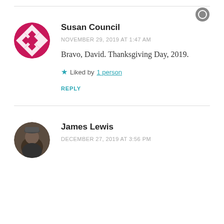[Figure (logo): Small circular icon at top right corner]
Susan Council
NOVEMBER 29, 2019 AT 1:47 AM
Bravo, David. Thanksgiving Day, 2019.
Liked by 1 person
REPLY
James Lewis
DECEMBER 27, 2019 AT 3:56 PM